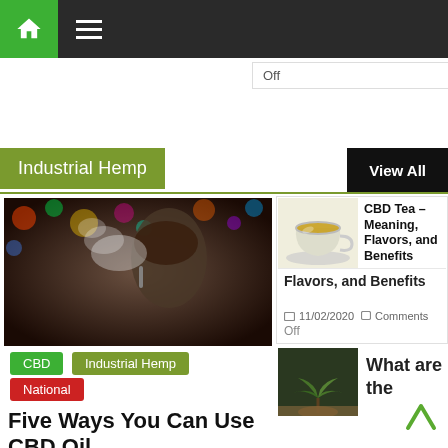Navigation bar with home icon and hamburger menu
Off
Industrial Hemp
View All
[Figure (photo): Woman vaping/smoking with colorful bokeh lights in background]
CBD
Industrial Hemp
National
Five Ways You Can Use CBD Oil
04/18/2021  William Stash Jones  Comments
[Figure (photo): Glass cup of golden tea on saucer]
CBD Tea – Meaning, Flavors, and Benefits
11/02/2020  Comments Off
[Figure (photo): Hemp plant with roots on wooden background]
What are the